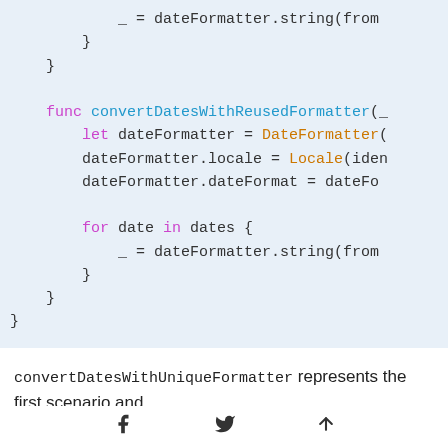[Figure (screenshot): Swift code snippet showing a code block with closing braces, then a func convertDatesWithReusedFormatter function with let dateFormatter, dateFormatter.locale, dateFormatter.dateFormat, a for loop, and closing braces. Syntax highlighted on light blue background.]
convertDatesWithUniqueFormatter represents the first scenario and
Facebook icon, Twitter icon, Up arrow icon